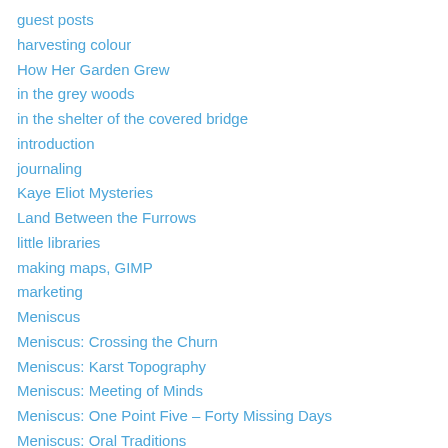guest posts
harvesting colour
How Her Garden Grew
in the grey woods
in the shelter of the covered bridge
introduction
journaling
Kaye Eliot Mysteries
Land Between the Furrows
little libraries
making maps, GIMP
marketing
Meniscus
Meniscus: Crossing the Churn
Meniscus: Karst Topography
Meniscus: Meeting of Minds
Meniscus: One Point Five – Forty Missing Days
Meniscus: Oral Traditions
Meniscus: Resistance
Meniscus: Rosetta Stone